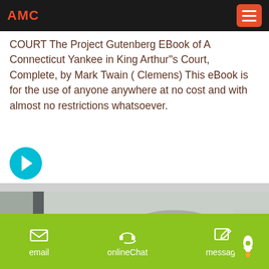AMC
COURT The Project Gutenberg EBook of A Connecticut Yankee in King Arthur''s Court, Complete, by Mark Twain ( Clemens) This eBook is for the use of anyone anywhere at no cost and with almost no restrictions whatsoever.
[Figure (other): Cyan circle with right-pointing arrow button]
[Figure (photo): Photo of industrial machinery with orange and grey components, including a cylindrical grey part with an orange base ring]
[Figure (other): Green circle with rocket/push-pin icon]
email   onlineChat   message